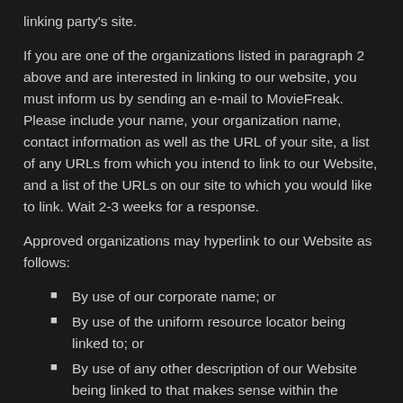linking party's site.
If you are one of the organizations listed in paragraph 2 above and are interested in linking to our website, you must inform us by sending an e-mail to MovieFreak. Please include your name, your organization name, contact information as well as the URL of your site, a list of any URLs from which you intend to link to our Website, and a list of the URLs on our site to which you would like to link. Wait 2-3 weeks for a response.
Approved organizations may hyperlink to our Website as follows:
By use of our corporate name; or
By use of the uniform resource locator being linked to; or
By use of any other description of our Website being linked to that makes sense within the context and format of content on the linking party's site.
No use of MovieFreak's logo or other artwork will be allowed for linking absent a trademark license agreement.